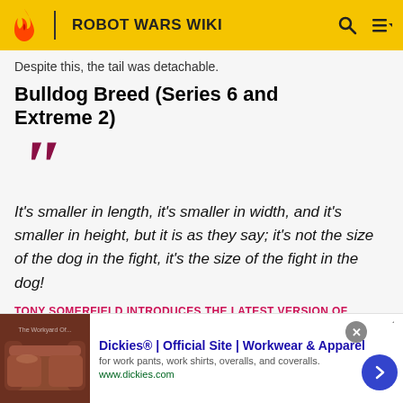ROBOT WARS WIKI
Despite this, the tail was detachable.
Bulldog Breed (Series 6 and Extreme 2)
It's smaller in length, it's smaller in width, and it's smaller in height, but it is as they say; it's not the size of the dog in the fight, it's the size of the fight in the dog!
TONY SOMERFIELD INTRODUCES THE LATEST VERSION OF BULLDOG BREED IN SERIES 6
[Figure (other): Advertisement for Dickies workwear showing leather couch image, title 'Dickies® | Official Site | Workwear & Apparel', description 'for work pants, work shirts, overalls, and coveralls.', url 'www.dickies.com']